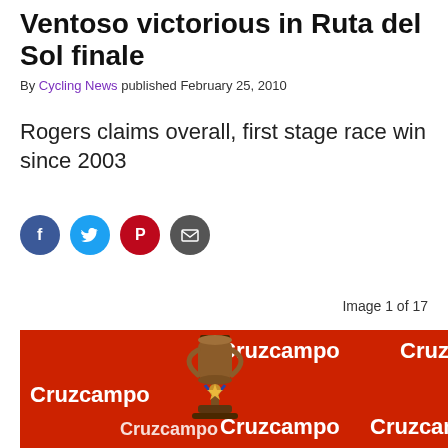Ventoso victorious in Ruta del Sol finale
By Cycling News published February 25, 2010
Rogers claims overall, first stage race win since 2003
[Figure (other): Social sharing icons: Facebook, Twitter, Pinterest, Email]
Image 1 of 17
[Figure (photo): A cycling trophy held up in front of a red Cruzcampo branded backdrop/banner]